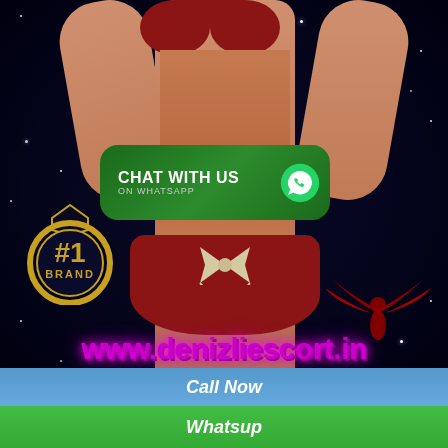[Figure (illustration): Advertisement for denizliescort.in featuring an illustrated figure in a red bikini on a dark starry background, with a WhatsApp chat button, a #1 Brand badge, red wings silhouette, and the website URL in purple text.]
CHAT WITH US ON WHATSAPP
#1 BRAND
www.denizliescort.in
Call Now
Whatsup